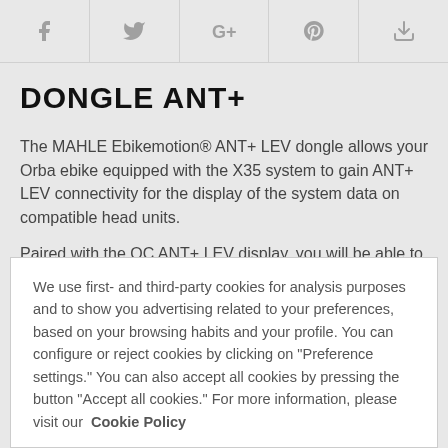[Figure (other): Social sharing bar with icons: Facebook, Twitter, Google+, Pinterest, Download]
DONGLE ANT+
The MAHLE Ebikemotion® ANT+ LEV dongle allows your Orba ebike equipped with the X35 system to gain ANT+ LEV connectivity for the display of the system data on compatible head units.
Paired with the OC ANT+ LEV display, you will be able to visualize the following system data:
We use first- and third-party cookies for analysis purposes and to show you advertising related to your preferences, based on your browsing habits and your profile. You can configure or reject cookies by clicking on "Preference settings." You can also accept all cookies by pressing the button "Accept all cookies." For more information, please visit our Cookie Policy